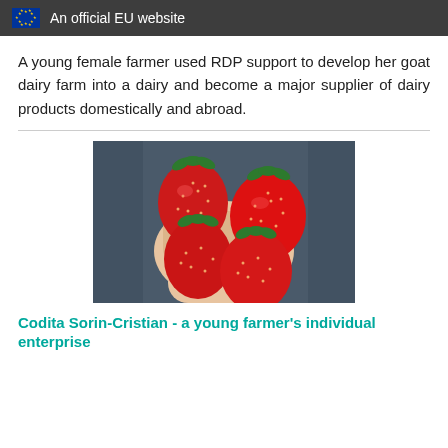An official EU website
A young female farmer used RDP support to develop her goat dairy farm into a dairy and become a major supplier of dairy products domestically and abroad.
[Figure (photo): A hand holding four large red strawberries, photographed close up against a denim background.]
Codita Sorin-Cristian - a young farmer's individual enterprise